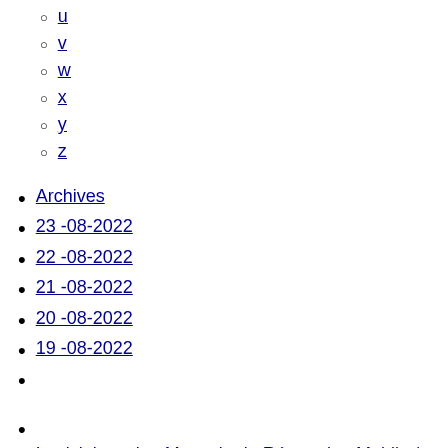u
v
w
x
y
z
Archives
23 -08-2022
22 -08-2022
21 -08-2022
20 -08-2022
19 -08-2022
Logiciel gestion Magasin de Réparation Mobile / Smartphone & Informatique
Connexion
Inscription
Numéro Beurtelechat Tous les artisans
Réparation téléphone / informatique
Annuaire Médical Annuaire Garagistes Pas CHER Annuaire Commercants Pas